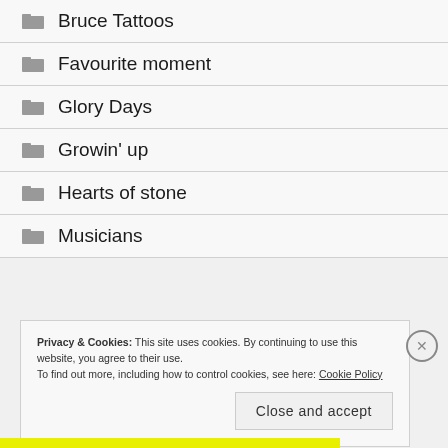Bruce Tattoos
Favourite moment
Glory Days
Growin' up
Hearts of stone
Musicians
Privacy & Cookies: This site uses cookies. By continuing to use this website, you agree to their use.
To find out more, including how to control cookies, see here: Cookie Policy
Close and accept